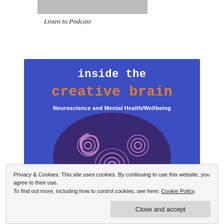[Figure (photo): Partial podcast player image at top of page, cropped]
Listen to Podcast
[Figure (illustration): Book cover for 'inside the creative brain: Neuroscience and Mental Health/Wellbeing' with a blue background and a stylized purple brain with spiral patterns]
Privacy & Cookies: This site uses cookies. By continuing to use this website, you agree to their use.
To find out more, including how to control cookies, see here: Cookie Policy
Close and accept